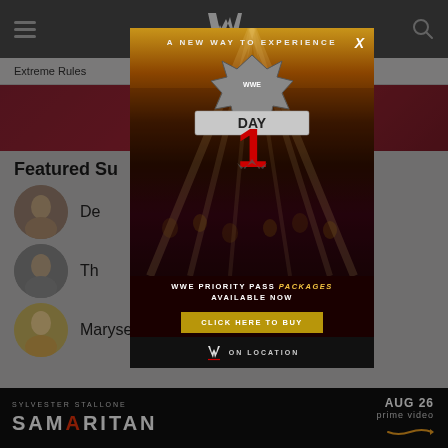WWE navigation bar with hamburger menu, WWE logo, and search icon
Extreme Rules
[Figure (screenshot): Red banner background image for Extreme Rules event]
Featured Su...
De... (Superstar with avatar)
Th... (Superstar with avatar)
Maryse (Superstar with avatar)
[Figure (screenshot): WWE Day 1 Priority Pass modal ad overlay: 'A NEW WAY TO EXPERIENCE' with WWE Day 1 logo, 'WWE PRIORITY PASS PACKAGES AVAILABLE NOW', 'CLICK HERE TO BUY' button, WWE On Location branding and X close button]
[Figure (advertisement): Sylvester Stallone Samaritan movie ad - 'SAMARITAN - AUG 26 - prime video']